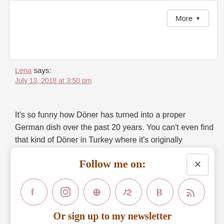[Figure (screenshot): A 'More' dropdown button in top-right of a white card]
Lena says:
July 13, 2018 at 3:50 pm
It's so funny how Döner has turned into a proper German dish over the past 20 years. You can't even find that kind of Döner in Turkey where it's originally
[Figure (screenshot): A modal popup overlay with 'Follow me on:' title, social media icons (Facebook, Instagram, Pinterest, Twitter, Bloglovin, RSS), 'Or sign up to my newsletter' text, and a Subscribe email input with Sign Up button. Has a close X button.]
husband!
Reply